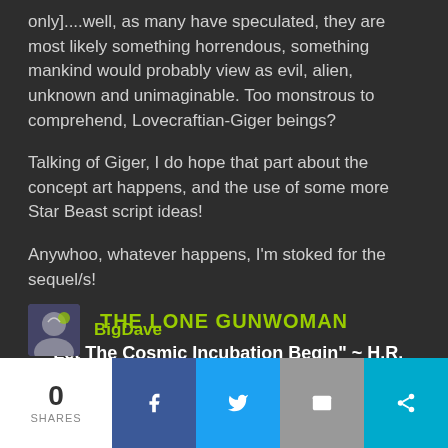only]....well, as many have speculated, they are most likely something horrendous, something mankind would probably view as evil, alien, unknown and unimaginable. Too monstrous to comprehend, Lovecraftian-Giger beings?
Talking of Giger, I do hope that part about the concept art happens, and the use of some more Star Beast script ideas!
Anywhoo, whatever happens, I'm stoked for the sequel/s!
THE LONE GUNWOMAN
"Let The Cosmic Incubation Begin" ~ H.R. Giger
BigDave